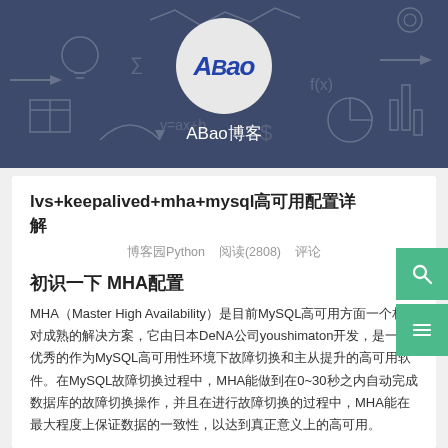[Figure (logo): Blog header banner with dark blue background showing chalkboard doodle illustrations. A circular white avatar with cursive 'ABao' logo is centered at the top.]
ABao博客
lvs+keepalived+mha+mysql高可用配置详解
博客园Python 阅读(2808) 评论
初识一下 MHA配置
MHA（Master High Availability）是目前MySQL高可用方面一个相对成熟的解决方案，它由日本DeNA公司youshimatonC开发，是一套优秀的作为MySQL高可用性环境下故障切换和主从提升的高可用软件。在MySQL故障切换过程中，MHA能做到在0~30秒之内自动完成数据库的故障切换操作，并且在进行故障切换的过程中，MHA能在最大程度上保证数据的一致性，以达到真正意义上的高可用。